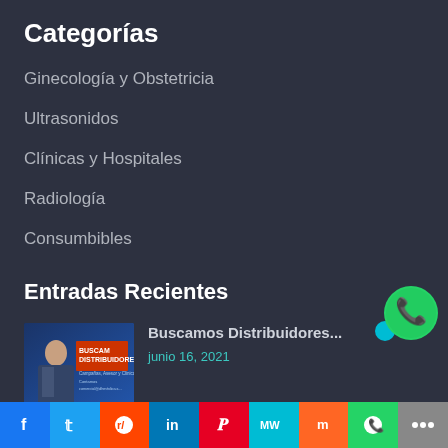Categorías
Ginecología y Obstetricia
Ultrasonidos
Clínicas y Hospitales
Radiología
Consumbibles
Entradas Recientes
[Figure (photo): Thumbnail image of a man in suit with 'Buscamos Distribuidores' promotional text on blue background]
Buscamos Distribuidores...
junio 16, 2021
f  Twitter  Reddit  in  Pinterest  MW  Mix  WhatsApp  Share